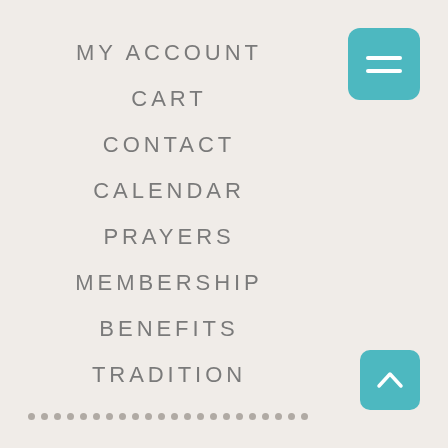MY ACCOUNT
CART
CONTACT
CALENDAR
PRAYERS
MEMBERSHIP
BENEFITS
TRADITION
[Figure (other): Teal hamburger menu button in top-right corner with two white horizontal lines]
[Figure (other): Teal scroll-to-top button (chevron up) in bottom-right corner]
[Figure (other): Row of small grey dots along bottom of page]